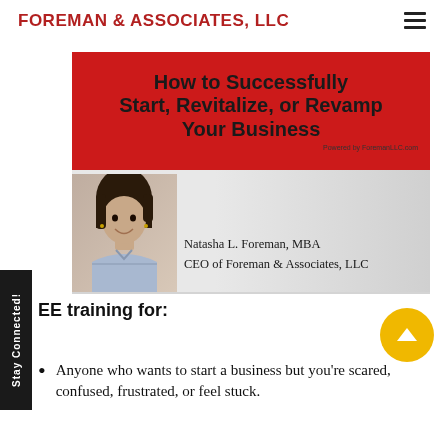FOREMAN & ASSOCIATES, LLC
[Figure (illustration): Promotional slide image with red banner reading 'How to Successfully Start, Revitalize, or Revamp Your Business' and photo of Natasha L. Foreman, MBA, CEO of Foreman & Associates, LLC]
FREE training for:
Anyone who wants to start a business but you're scared, confused, frustrated, or feel stuck.